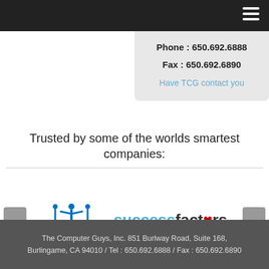[Figure (other): Dark top navigation bar with hamburger menu icon (three white horizontal lines) in the top right corner]
Phone : 650.692.6888
Fax : 650.692.6890
Have TCG contact you
Trusted by some of the worlds smartest companies:
[Figure (logo): Kaiser Permanente logo - blue figure/people icon above the text KAISER PERMANENTE with registered trademark symbol]
[Figure (logo): SuccessFactors logo - blue 'success' text followed by dark 'factors' with a red heart replacing the 'o', trademark symbol, and 'An SAP Company' subtitle]
The Computer Guys, Inc. 851 Burlway Road, Suite 168, Burlingame, CA 94010 / Tel : 650.692.6888 / Fax : 650.692.6890